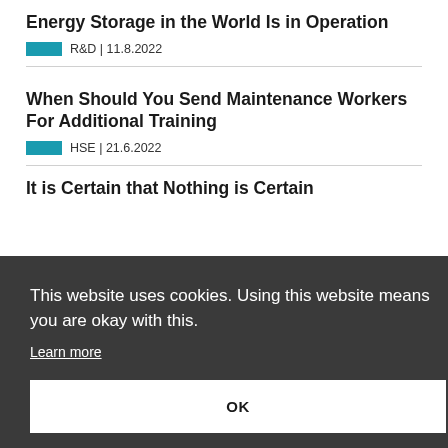Energy Storage in the World Is in Operation
R&D | 11.8.2022
When Should You Send Maintenance Workers For Additional Training
HSE | 21.6.2022
It is Certain that Nothing is Certain
This website uses cookies. Using this website means you are okay with this.
Learn more
OK